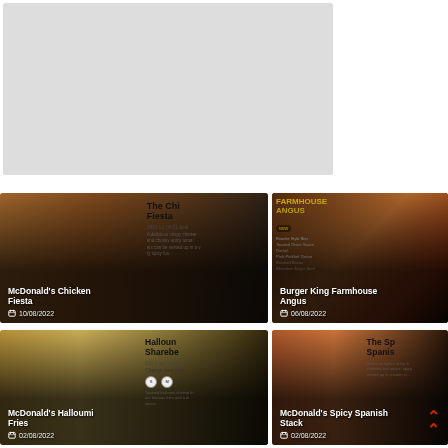[Figure (photo): Large food/restaurant promotional image placeholder (grey area) at top]
[Figure (photo): McDonald's Chicken Fiesta promotional card with fried chicken burger image. Title: McDonald's Chicken Fiesta. Date: 10/08/2022]
[Figure (photo): Burger King Farmhouse Angus promotional card. Shows burger with text: FARMHOUSE ANGUS, Brioche Style Bun, Toasted Onion Sauce, Rocket, Pink Pickled Onion, Smoked Bacon, Aberdeen Angus Beef. Date: 06/08/2022]
[Figure (photo): McDonald's Halloumi Fries promotional card. Shows halloumi fries image. Title: McDonald's Halloumi Fries. Date: 02/08/2022. Halloumi Sharebx text visible, 630 kcal / 2619 kJ]
[Figure (photo): McDonald's Spicy Spanish Stack promotional card. Shows burger image. Title: McDonald's Spicy Spanish Stack. Date: 02/08/2022. The Sp Spanis text visible]